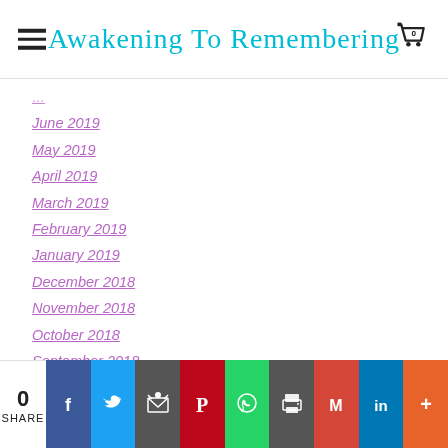Awakening To Remembering
June 2019
May 2019
April 2019
March 2019
February 2019
January 2019
December 2018
November 2018
October 2018
September 2018
August 2018
July 2018
June 2018
May 2018
April 2018
0 SHARE — social share buttons: Facebook, Twitter, Email, Pinterest, WhatsApp, Print, Gmail, LinkedIn, More